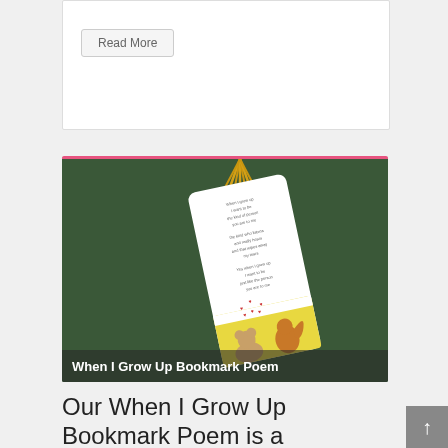Read More
[Figure (photo): A bookmark with a poem titled 'When I Grow Up' on a dark green felt background. The bookmark has a yellow tassel at the top and illustrations of animals (bears/squirrels) at the bottom with small red hearts. The poem text is printed on the white part of the bookmark.]
When I Grow Up Bookmark Poem
Our When I Grow Up Bookmark Poem is a perfect Mother's Day